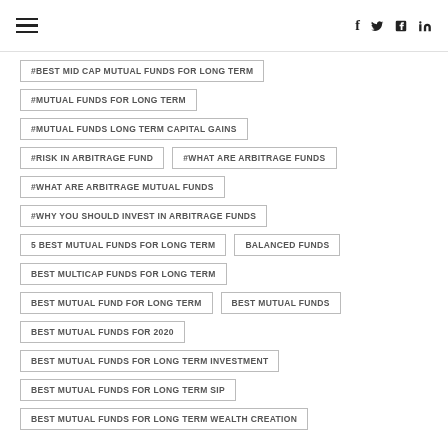≡  f  𝕏  in
#BEST MID CAP MUTUAL FUNDS FOR LONG TERM
#MUTUAL FUNDS FOR LONG TERM
#MUTUAL FUNDS LONG TERM CAPITAL GAINS
#RISK IN ARBITRAGE FUND
#WHAT ARE ARBITRAGE FUNDS
#WHAT ARE ARBITRAGE MUTUAL FUNDS
#WHY YOU SHOULD INVEST IN ARBITRAGE FUNDS
5 BEST MUTUAL FUNDS FOR LONG TERM
BALANCED FUNDS
BEST MULTICAP FUNDS FOR LONG TERM
BEST MUTUAL FUND FOR LONG TERM
BEST MUTUAL FUNDS
BEST MUTUAL FUNDS FOR 2020
BEST MUTUAL FUNDS FOR LONG TERM INVESTMENT
BEST MUTUAL FUNDS FOR LONG TERM SIP
BEST MUTUAL FUNDS FOR LONG TERM WEALTH CREATION